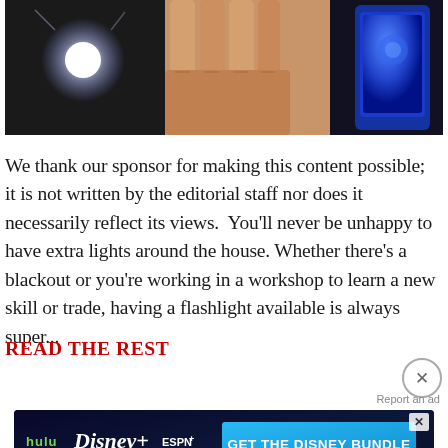[Figure (photo): Top portion of a photo showing a bright flashlight/LED light on the left, a hand holding something in the center, and a blue device on the right, all against a dark background.]
We thank our sponsor for making this content possible; it is not written by the editorial staff nor does it necessarily reflect its views.  You'll never be unhappy to have extra lights around the house. Whether there's a blackout or you're working in a workshop to learn a new skill or trade, having a flashlight available is always super...
READ THE REST
[Figure (screenshot): Advertisement banner for the Disney Bundle featuring Hulu, Disney+, and ESPN+ logos with a blue 'GET THE DISNEY BUNDLE' call-to-action button and fine print about Hulu subscription options. Fine print reads: Incl. Hulu (ad-supported) or Hulu (No Ads). Access content from each service separately. ©2021 Disney and its related entities]
Report an ad